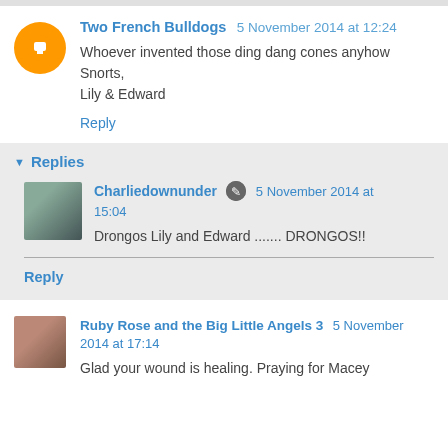Two French Bulldogs 5 November 2014 at 12:24
Whoever invented those ding dang cones anyhow
Snorts,
Lily & Edward
Reply
Replies
Charliedownunder 5 November 2014 at 15:04
Drongos Lily and Edward ....... DRONGOS!!
Reply
Ruby Rose and the Big Little Angels 3 5 November 2014 at 17:14
Glad your wound is healing. Praying for Macey